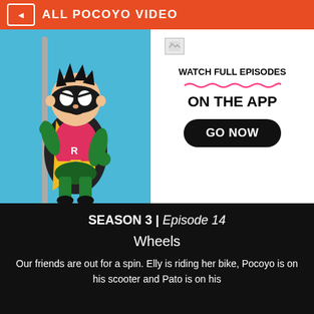ALL POCOYO VIDEO
[Figure (illustration): Advertisement banner showing a cartoon Robin (DC Comics) character in superhero costume holding a staff, on a blue background, with text 'WATCH FULL EPISODES ON THE APP' and a 'GO NOW' black button on white background]
SEASON 3 | Episode 14
Wheels
Our friends are out for a spin. Elly is riding her bike, Pocoyo is on his scooter and Pato is on his